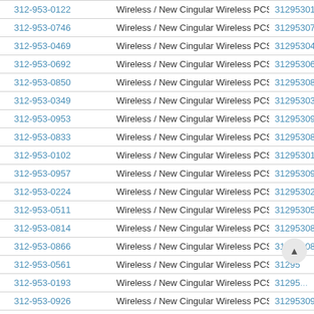| Phone Number | Carrier | NXX |
| --- | --- | --- |
| 312-953-0122 | Wireless / New Cingular Wireless PCS | 3129530122 |
| 312-953-0746 | Wireless / New Cingular Wireless PCS | 3129530746 |
| 312-953-0469 | Wireless / New Cingular Wireless PCS | 3129530469 |
| 312-953-0692 | Wireless / New Cingular Wireless PCS | 3129530692 |
| 312-953-0850 | Wireless / New Cingular Wireless PCS | 3129530850 |
| 312-953-0349 | Wireless / New Cingular Wireless PCS | 3129530349 |
| 312-953-0953 | Wireless / New Cingular Wireless PCS | 3129530953 |
| 312-953-0833 | Wireless / New Cingular Wireless PCS | 3129530833 |
| 312-953-0102 | Wireless / New Cingular Wireless PCS | 3129530102 |
| 312-953-0957 | Wireless / New Cingular Wireless PCS | 3129530957 |
| 312-953-0224 | Wireless / New Cingular Wireless PCS | 3129530224 |
| 312-953-0511 | Wireless / New Cingular Wireless PCS | 3129530511 |
| 312-953-0814 | Wireless / New Cingular Wireless PCS | 3129530814 |
| 312-953-0866 | Wireless / New Cingular Wireless PCS | 3129530866 |
| 312-953-0561 | Wireless / New Cingular Wireless PCS | 3129530561 |
| 312-953-0193 | Wireless / New Cingular Wireless PCS | 3129530193 |
| 312-953-0926 | Wireless / New Cingular Wireless PCS | 3129530926 |
| 312-953-0058 | Wireless / New Cingular Wireless PCS | 3129530058 |